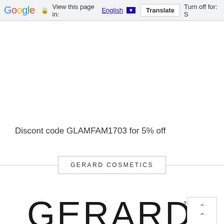Google  View this page in: English ▼  Translate  Turn off for: S
Discont code GLAMFAM1703 for 5% off
GERARD COSMETICS
[Figure (logo): Gerard Cosmetics logo showing GERARD™ in large text above two horizontal lines and COSMETICS below in large text]